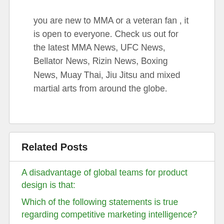you are new to MMA or a veteran fan , it is open to everyone. Check us out for the latest MMA News, UFC News, Bellator News, Rizin News, Boxing News, Muay Thai, Jiu Jitsu and mixed martial arts from around the globe.
Related Posts
A disadvantage of global teams for product design is that:
Which of the following statements is true regarding competitive marketing intelligence?
How to change all the periods to size 14 on word
Can planes take off in snow